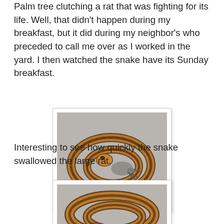Palm tree clutching a rat that was fighting for its life. Well, that didn't happen during my breakfast, but it did during my neighbor's who preceded to call me over as I worked in the yard. I then watched the snake have its Sunday breakfast.
[Figure (photo): A brown-striped snake coiled around a rat on a concrete surface, viewed from above.]
Interesting to see how quickly the snake swallowed the large rat.
[Figure (photo): Close-up of a brown-striped snake coiled on a concrete surface, partially visible at bottom of page.]